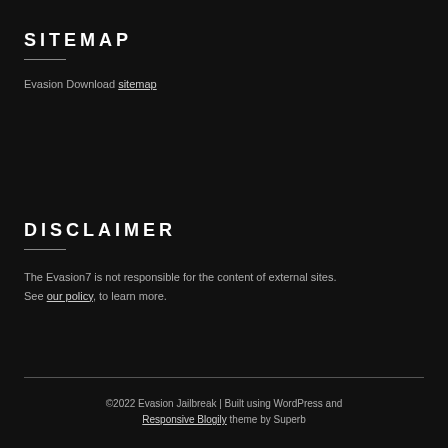SITEMAP
Evasion Download sitemap
DISCLAIMER
The Evasion7 is not responsible for the content of external sites. See our policy, to learn more.
©2022 Evasion Jailbreak | Built using WordPress and Responsive Blogily theme by Superb